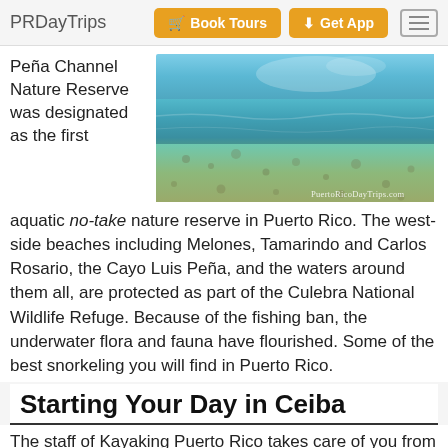PRDayTrips | Book Tours | Get App
Peña Channel Nature Reserve was designated as the first aquatic no-take nature reserve in Puerto Rico.
[Figure (photo): Shallow turquoise coastal water over sandy rocky seabed, with PuertoRicoDayTrips.com watermark in bottom right]
aquatic no-take nature reserve in Puerto Rico. The west-side beaches including Melones, Tamarindo and Carlos Rosario, the Cayo Luis Peña, and the waters around them all, are protected as part of the Culebra National Wildlife Refuge. Because of the fishing ban, the underwater flora and fauna have flourished. Some of the best snorkeling you will find in Puerto Rico.
Starting Your Day in Ceiba
The staff of Kayaking Puerto Rico takes care of you from start to finish. The only thing you need to do is arrange for transportation to/from the ferry terminal in Ceiba. I think